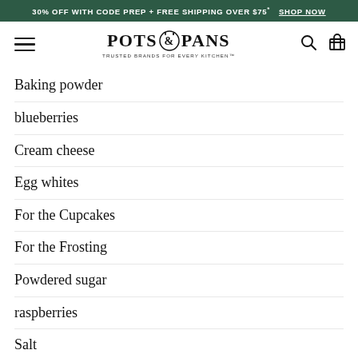30% OFF WITH CODE PREP + FREE SHIPPING OVER $75* SHOP NOW
[Figure (logo): Pots & Pans logo with tagline 'Trusted Brands for Every Kitchen']
Baking powder
blueberries
Cream cheese
Egg whites
For the Cupcakes
For the Frosting
Powdered sugar
raspberries
Salt
sugar